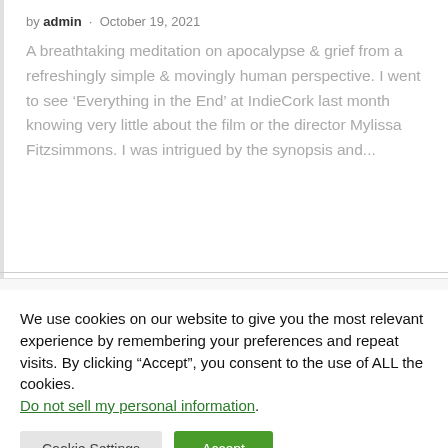by admin · October 19, 2021
A breathtaking meditation on apocalypse & grief from a refreshingly simple & movingly human perspective. I went to see 'Everything in the End' at IndieCork last month knowing very little about the film or the director Mylissa Fitzsimmons. I was intrigued by the synopsis and...
We use cookies on our website to give you the most relevant experience by remembering your preferences and repeat visits. By clicking "Accept", you consent to the use of ALL the cookies.
Do not sell my personal information.
Cookie Settings  Accept